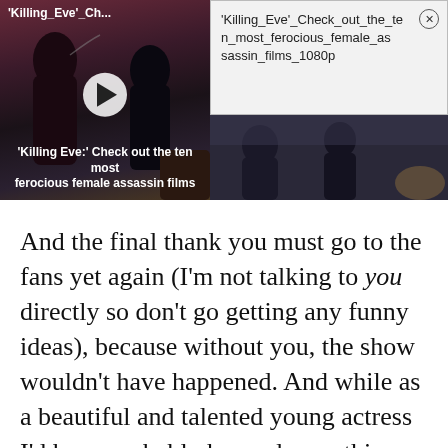[Figure (screenshot): Video thumbnail showing 'Killing Eve:' Check out the ten most ferocious female assassin films with play button, dark cinematic background with shadowy figures]
[Figure (screenshot): Download dialog box showing filename 'Killing_Eve'_Check_out_the_ten_most_ferocious_female_assassin_films_1080p' with close button]
[Figure (photo): Dark cinematic still from Killing Eve showing shadowy figures near water]
And the final thank you must go to the fans yet again (I'm not talking to you directly so don't go getting any funny ideas), because without you, the show wouldn't have happened. And while as a beautiful and talented young actress I'd have probably bagged something else that would still have paid pretty good dosh (that means dough